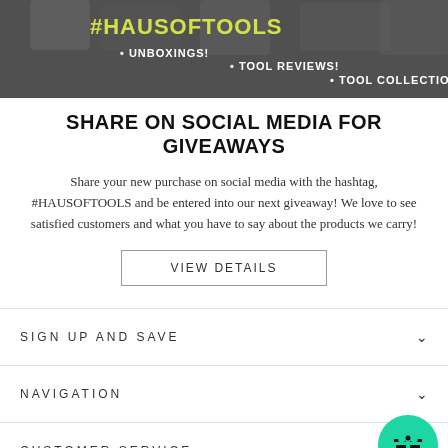[Figure (photo): Banner image with dark background showing #HAUSOFTOOLS hashtag, UNBOXINGS!, TOOL REVIEWS!, TOOL COLLECTIONS! text]
SHARE ON SOCIAL MEDIA FOR GIVEAWAYS
Share your new purchase on social media with the hashtag, #HAUSOFTOOLS and be entered into our next giveaway! We love to see satisfied customers and what you have to say about the products we carry!
VIEW DETAILS
SIGN UP AND SAVE
NAVIGATION
CUSTOMER SERVICE